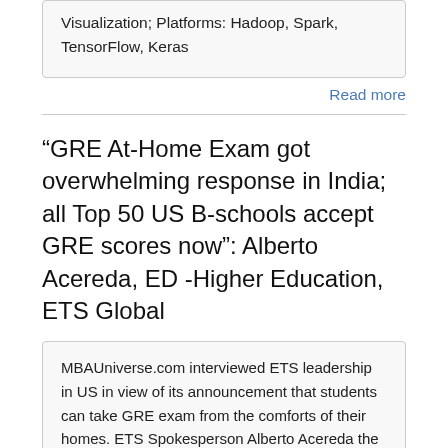Visualization; Platforms: Hadoop, Spark, TensorFlow, Keras
Read more
“GRE At-Home Exam got overwhelming response in India; all Top 50 US B-schools accept GRE scores now”: Alberto Acereda, ED -Higher Education, ETS Global
MBAUniverse.com interviewed ETS leadership in US in view of its announcement that students can take GRE exam from the comforts of their homes. ETS Spokesperson Alberto Acereda the Executive Director of Higher Education in the Global Education Division at ETS in Princeton, NJ, USA shares that India which